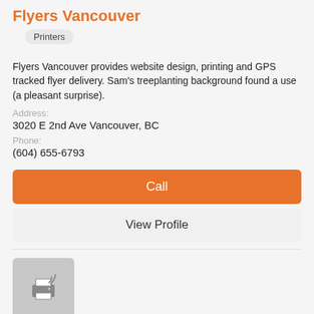Flyers Vancouver
Printers
Flyers Vancouver provides website design, printing and GPS tracked flyer delivery. Sam's treeplanting background found a use (a pleasant surprise).
Address:
3020 E 2nd Ave Vancouver, BC
Phone:
(604) 655-6793
Call
View Profile
[Figure (logo): Gray square logo placeholder with printer icon and signal waves]
Linx Print